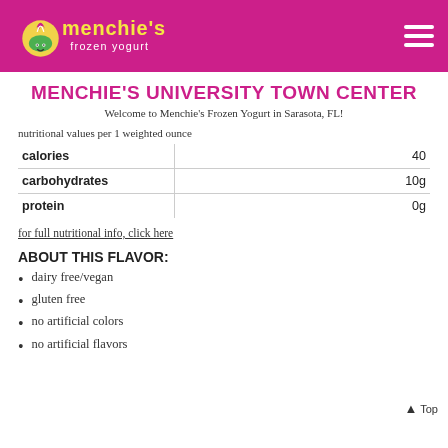[Figure (logo): Menchie's Frozen Yogurt logo with pink header bar and hamburger menu icon]
MENCHIE'S UNIVERSITY TOWN CENTER
Welcome to Menchie's Frozen Yogurt in Sarasota, FL!
nutritional values per 1 weighted ounce
|  |  |
| --- | --- |
| calories | 40 |
| carbohydrates | 10g |
| protein | 0g |
for full nutritional info, click here
ABOUT THIS FLAVOR:
dairy free/vegan
gluten free
no artificial colors
no artificial flavors